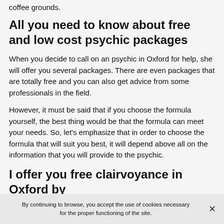coffee grounds.
All you need to know about free and low cost psychic packages
When you decide to call on an psychic in Oxford for help, she will offer you several packages. There are even packages that are totally free and you can also get advice from some professionals in the field.
However, it must be said that if you choose the formula yourself, the best thing would be that the formula can meet your needs. So, let’s emphasize that in order to choose the formula that will suit you best, it will depend above all on the information that you will provide to the psychic.
I offer you free clairvoyance in Oxford by
By continuing to browse, you accept the use of cookies necessary for the proper functioning of the site.